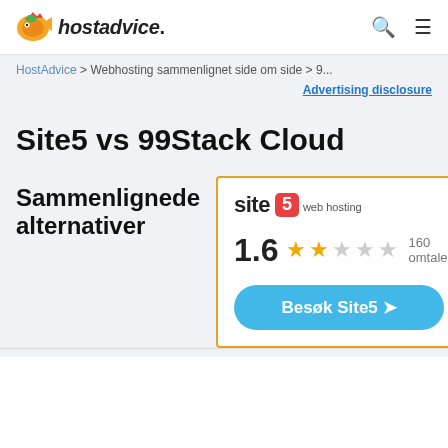hostadvice.
HostAdvice > Webhosting sammenlignet side om side > 9...
Advertising disclosure
Site5 vs 99Stack Cloud
Sammenlignede alternativer
[Figure (logo): Site5 web hosting logo with red square containing number 5]
1.6  160 omtaler
Besøk Site5